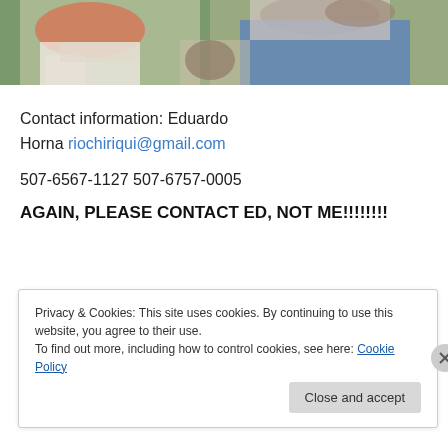[Figure (photo): Outdoor photo of people sitting, one wearing pink top, another in blue jeans, with green trees/bushes in background]
Contact information: Eduardo Horna riochiriqui@gmail.com
507-6567-1127 507-6757-0005
AGAIN, PLEASE CONTACT ED, NOT ME!!!!!!!
Privacy & Cookies: This site uses cookies. By continuing to use this website, you agree to their use.
To find out more, including how to control cookies, see here: Cookie Policy